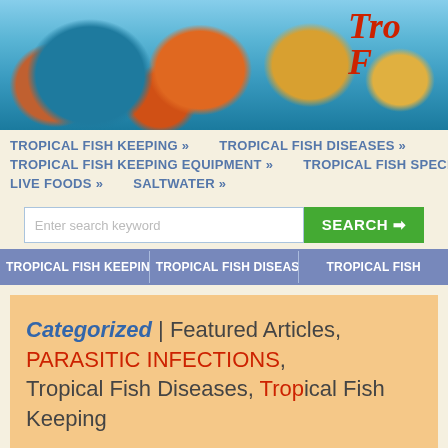[Figure (photo): Banner photo of colorful tropical discus fish in an aquarium with green plants. A partially visible logo text 'Tro...' appears in the top right corner in red italic font.]
TROPICAL FISH KEEPING »   TROPICAL FISH DISEASES »   TROPICAL FISH KEEPING EQUIPMENT »   TROPICAL FISH SPECIES »   LIVE FOODS »   SALTWATER »
Enter search keyword  SEARCH →
TROPICAL FISH KEEPING   TROPICAL FISH DISEASES   TROPICAL FISH
Categorized | Featured Articles, PARASITIC INFECTIONS, Tropical Fish Diseases, Tropical Fish Keeping